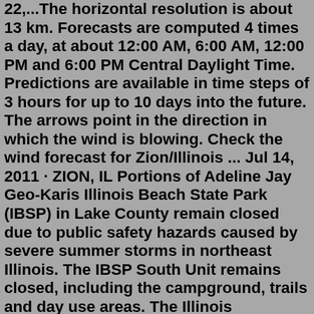22,...The horizontal resolution is about 13 km. Forecasts are computed 4 times a day, at about 12:00 AM, 6:00 AM, 12:00 PM and 6:00 PM Central Daylight Time. Predictions are available in time steps of 3 hours for up to 10 days into the future. The arrows point in the direction in which the wind is blowing. Check the wind forecast for Zion/Illinois ... Jul 14, 2011 · ZION, IL Portions of Adeline Jay Geo-Karis Illinois Beach State Park (IBSP) in Lake County remain closed due to public safety hazards caused by severe summer storms in northeast Illinois. The IBSP South Unit remains closed, including the campground, trails and day use areas. The Illinois Department of Natural Resources (IDNR) is working as ... John R. Park John R. Park, age 64, of Beach Park, IL, formerly of Wildwood, IL, peacefully passed away in his sleep on Saturday, March 5, 2022, at his home. John was born in April of 1957 in...May 23, 2022 · Verna L. Geib, 78, of Beach Park, IL, passed away peacefully at home on January 23, 2022. Verna was born July 6, 1943 in Waukegan, IL. She